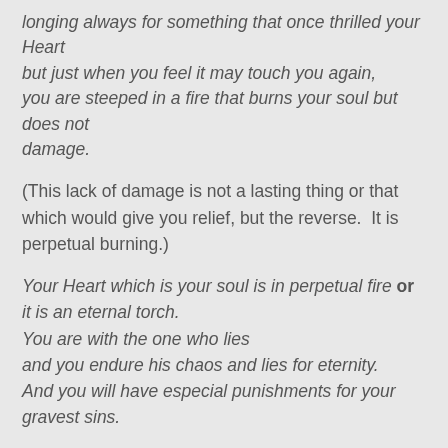longing always for something that once thrilled your Heart but just when you feel it may touch you again, you are steeped in a fire that burns your soul but does not damage.
(This lack of damage is not a lasting thing or that which would give you relief, but the reverse.  It is perpetual burning.)
Your Heart which is your soul is in perpetual fire or it is an eternal torch.
You are with the one who lies
and you endure his chaos and lies for eternity.
And you will have especial punishments for your gravest sins.
(This is a vision I saw before that was so repulsive, I did not want to share it.  I'm no longer answering emails on this subject - it's taking a toll on me.  Thanks.  but I see this all the time and it is a dark, cold, dank, ugly place.  It brings dread and illness to my heart to see it.  It is unlike anything I